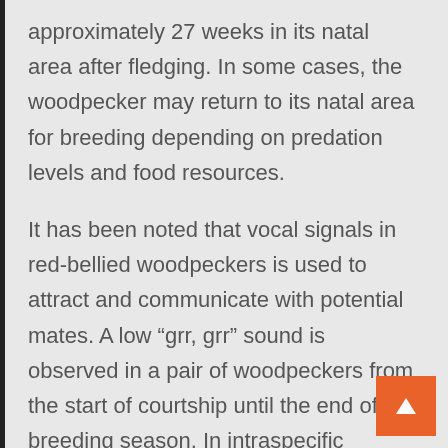approximately 27 weeks in its natal area after fledging. In some cases, the woodpecker may return to its natal area for breeding depending on predation levels and food resources.
It has been noted that vocal signals in red-bellied woodpeckers is used to attract and communicate with potential mates. A low “grr, grr” sound is observed in a pair of woodpeckers from the start of courtship until the end of the breeding season. In intraspecific conflict, the red-bellied